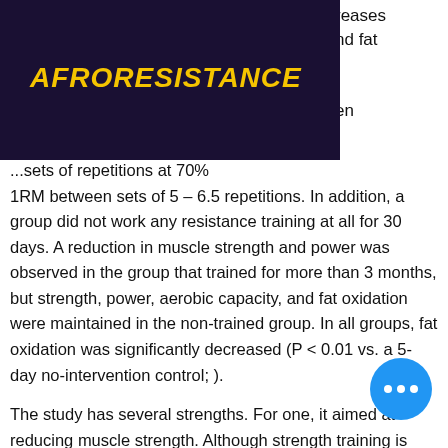AFRORESISTANCE
reases
nd fat

en
1RM between sets of 5 – 6.5 repetitions. In addition, a group did not work any resistance training at all for 30 days. A reduction in muscle strength and power was observed in the group that trained for more than 3 months, but strength, power, aerobic capacity, and fat oxidation were maintained in the non-trained group. In all groups, fat oxidation was significantly decreased (P < 0.01 vs. a 5-day no-intervention control; ).
The study has several strengths. For one, it aimed at reducing muscle strength. Although strength training is believed to enhance muscle mass in the elderly, and muscle strength in elderly persons may play an important role in energy metabolism, little